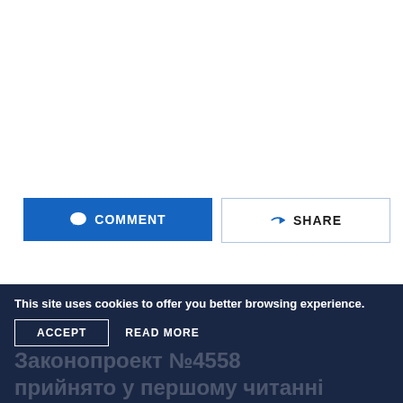[Figure (screenshot): COMMENT button (blue) and SHARE button (light border) side by side]
[Figure (illustration): Blue circle Telegram bot logo with text 'Start in the Telegram bot']
[Figure (infographic): Scroll-to-top circular button with upward arrow]
This site uses cookies to offer you better browsing experience.
ACCEPT
READ MORE
Законопроект №4558 прийнято у першому читанні